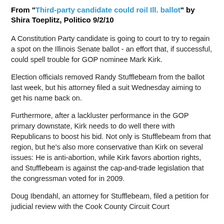From "Third-party candidate could roil Ill. ballot" by Shira Toeplitz, Politico 9/2/10
A Constitution Party candidate is going to court to try to regain a spot on the Illinois Senate ballot - an effort that, if successful, could spell trouble for GOP nominee Mark Kirk.
Election officials removed Randy Stufflebeam from the ballot last week, but his attorney filed a suit Wednesday aiming to get his name back on.
Furthermore, after a lackluster performance in the GOP primary downstate, Kirk needs to do well there with Republicans to boost his bid. Not only is Stufflebeam from that region, but he's also more conservative than Kirk on several issues: He is anti-abortion, while Kirk favors abortion rights, and Stufflebeam is against the cap-and-trade legislation that the congressman voted for in 2009.
Doug Ibendahl, an attorney for Stufflebeam, filed a petition for judicial review with the Cook County Circuit Court...